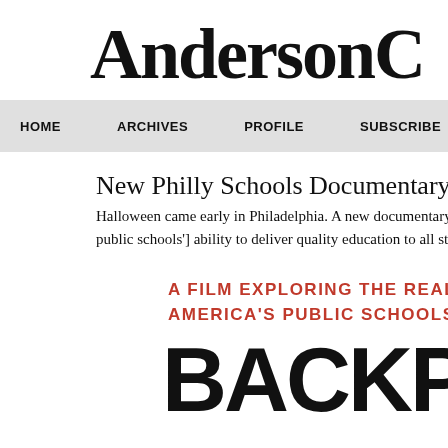AndersonCooper360
HOME   ARCHIVES   PROFILE   SUBSCRIBE
New Philly Schools Documentary is a Backp...
Halloween came early in Philadelphia. A new documentary wants to t... public schools'] ability to deliver quality education to all students." Th...
[Figure (other): Documentary film promotional graphic showing text 'A FILM EXPLORING THE REAL COST... AMERICA'S PUBLIC SCHOOLS' and large bold title 'BACKPA...']